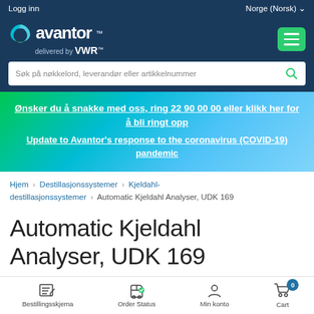Logg inn | Norge (Norsk)
[Figure (logo): Avantor delivered by VWR logo with teal/green wave mark on dark blue background]
Søk på nøkkelord, leverandør eller artikkelnummer
Ønsker du å snakke med oss, ring 22 90 00 00 eller klikk her for å bli ringt opp
Update to Avantor's response to the coronavirus (COVID-19) pandemic
Hjem > Destillasjonssystemer > Kjeldahl-destillasjonssystemer > Automatic Kjeldahl Analyser, UDK 169
Automatic Kjeldahl Analyser, UDK 169
Bestillingsskjema | Order Status | Min konto | Cart 0